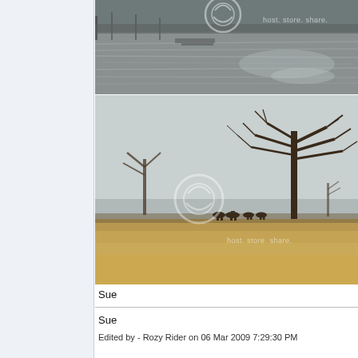[Figure (photo): Top photo: outdoor scene showing a flooded or wet area with reflective water surface, bare trees in background, overcast grey sky. Watermark overlay with circular logo and text 'host. store. share.' visible.]
[Figure (photo): Bottom photo: outdoor countryside scene with a large bare-branched tree on the right, open grassy field with dried golden grass in foreground, silhouettes of deer or horses visible on horizon, overcast grey sky. Watermark overlay with circular logo and text 'host. store. share.' visible.]
Sue
Sue
Edited by - Rozy Rider on 06 Mar 2009 7:29:30 PM